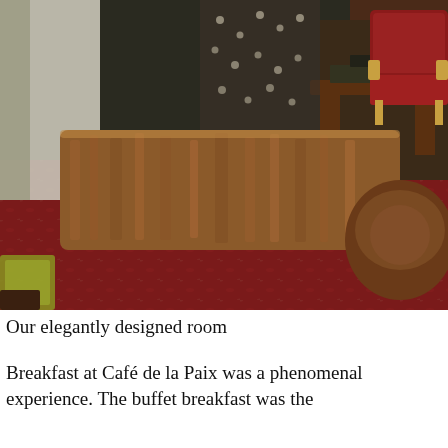[Figure (photo): Interior of an elegantly designed hotel room showing ornate upholstered sofas/armchairs in rich red and gold fabric, a dark wood writing desk near a window with sheer curtains, a red patterned carpet, and a classic red armchair in the upper right corner.]
Our elegantly designed room
Breakfast at Café de la Paix was a phenomenal experience. The buffet breakfast was the